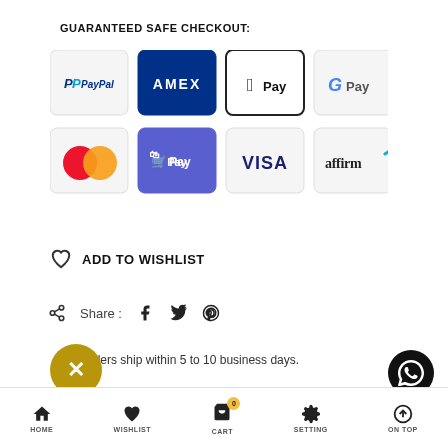GUARANTEED SAFE CHECKOUT:
[Figure (infographic): 8 payment method logos arranged in a 4x2 grid: PayPal, AMEX, Apple Pay, Google Pay, Mastercard, Shopify Pay, VISA, affirm]
ADD TO WISHLIST
Share :
Orders ship within 5 to 10 business days.
HOME   WISHLIST   CART   SETTING   ON TOP